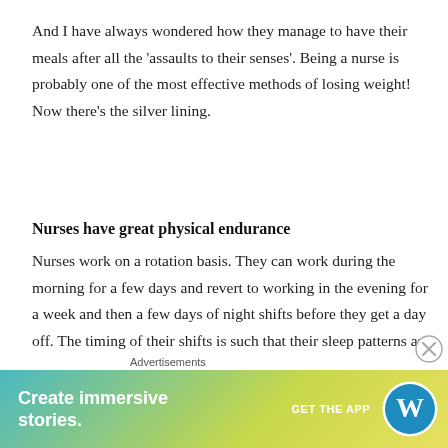And I have always wondered how they manage to have their meals after all the 'assaults to their senses'. Being a nurse is probably one of the most effective methods of losing weight! Now there's the silver lining.
Nurses have great physical endurance
Nurses work on a rotation basis. They can work during the morning for a few days and revert to working in the evening for a week and then a few days of night shifts before they get a day off. The timing of their shifts is such that their sleep patterns are disturbed. When they finally got the hang of a particular shift, a new one starts
[Figure (other): Advertisement banner: 'Create immersive stories. GET THE APP' with WordPress logo on a teal-to-yellow gradient background.]